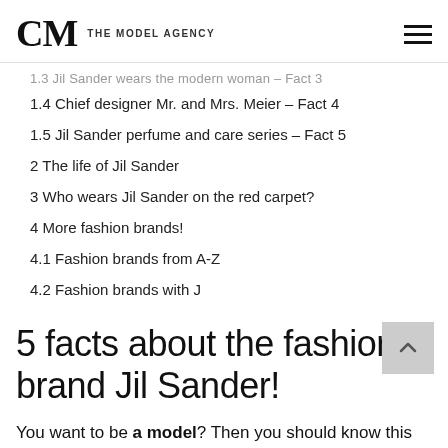CM THE MODEL AGENCY
1.3 Jil Sander wears the modern woman – Fact 3
1.4 Chief designer Mr. and Mrs. Meier – Fact 4
1.5  Jil Sander perfume and care series – Fact 5
2 The life of Jil Sander
3 Who wears Jil Sander on the red carpet?
4 More fashion brands!
4.1 Fashion brands from A-Z
4.2 Fashion brands with J
5 facts about the fashion brand Jil Sander!
You want to be a model? Then you should know this designer. Everything you need to know about the